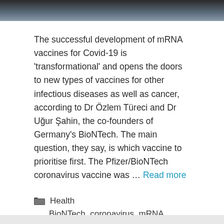[Figure (photo): Partial photo strip at top of page showing two people]
The successful development of mRNA vaccines for Covid-19 is ‘transformational’ and opens the doors to new types of vaccines for other infectious diseases as well as cancer, according to Dr Özlem Türeci and Dr Uğur Şahin, the co-founders of Germany’s BioNTech. The main question, they say, is which vaccine to prioritise first. The Pfizer/BioNTech coronavirus vaccine was … Read more
Health
BioNTech, coronavirus, mRNA vaccines